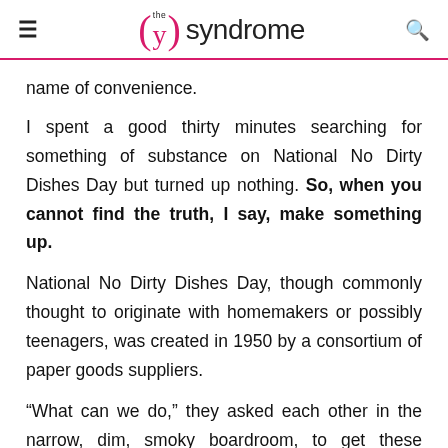≡  (y) the syndrome  🔍
name of convenience.
I spent a good thirty minutes searching for something of substance on National No Dirty Dishes Day but turned up nothing. So, when you cannot find the truth, I say, make something up.
National No Dirty Dishes Day, though commonly thought to originate with homemakers or possibly teenagers, was created in 1950 by a consortium of paper goods suppliers.
“What can we do,” they asked each other in the narrow, dim, smoky boardroom, to get these people to stop being so obsessed with their colorful new